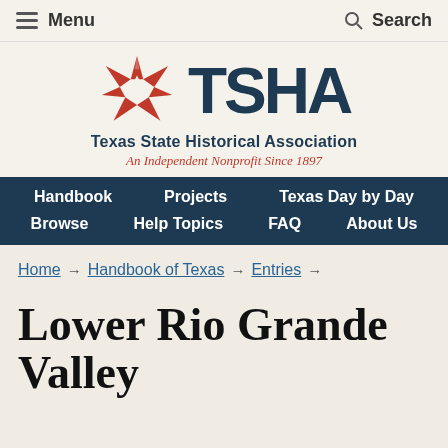Menu   Search
[Figure (logo): TSHA Texas State Historical Association logo with red star and dark navy TSHA text. Subtitle: An Independent Nonprofit Since 1897]
Handbook   Projects   Texas Day by Day   Browse   Help Topics   FAQ   About Us
Home → Handbook of Texas → Entries →
Lower Rio Grande Valley